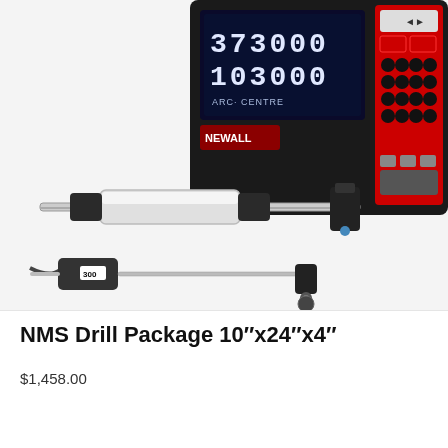[Figure (photo): Product photo of Newall NMS Drill Package showing a digital readout (DRO) unit with black housing and red keypad displaying '373000' and '103000' with 'ARC CENTRE' text, along with two linear encoder scales/readers with mounting hardware on a white background.]
NMS Drill Package 10"x24"x4"
$1,458.00